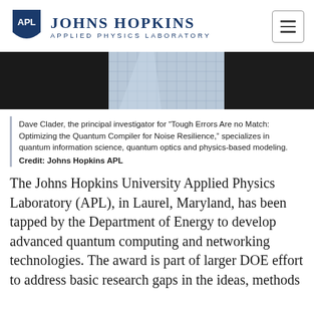JOHNS HOPKINS APPLIED PHYSICS LABORATORY
[Figure (photo): Close-up photo of a person in a plaid/checkered light blue shirt against a dark background, cropped to show collar and chest area only.]
Dave Clader, the principal investigator for “Tough Errors Are no Match: Optimizing the Quantum Compiler for Noise Resilience,” specializes in quantum information science, quantum optics and physics-based modeling.
Credit: Johns Hopkins APL
The Johns Hopkins University Applied Physics Laboratory (APL), in Laurel, Maryland, has been tapped by the Department of Energy to develop advanced quantum computing and networking technologies. The award is part of larger DOE effort to address basic research gaps in the ideas, methods